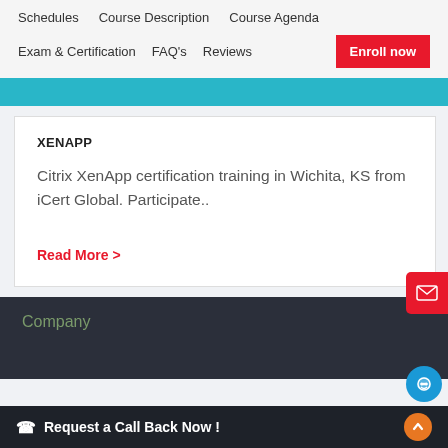Schedules   Course Description   Course Agenda
Exam & Certification   FAQ's   Reviews   Enroll now
XENAPP
Citrix XenApp certification training in Wichita, KS from iCert Global. Participate..
Read More >
Company
Request a Call Back Now !